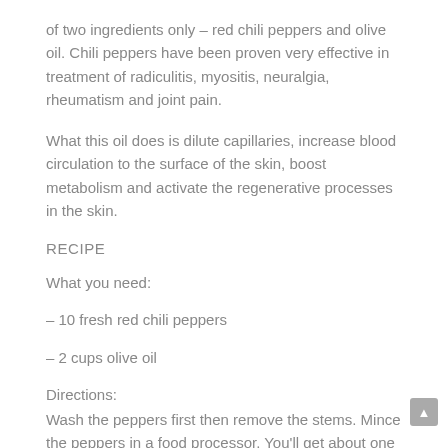of two ingredients only – red chili peppers and olive oil. Chili peppers have been proven very effective in treatment of radiculitis, myositis, neuralgia, rheumatism and joint pain.
What this oil does is dilute capillaries, increase blood circulation to the surface of the skin, boost metabolism and activate the regenerative processes in the skin.
RECIPE
What you need:
– 10 fresh red chili peppers
– 2 cups olive oil
Directions:
Wash the peppers first then remove the stems. Mince the peppers in a food processor. You'll get about one cup of